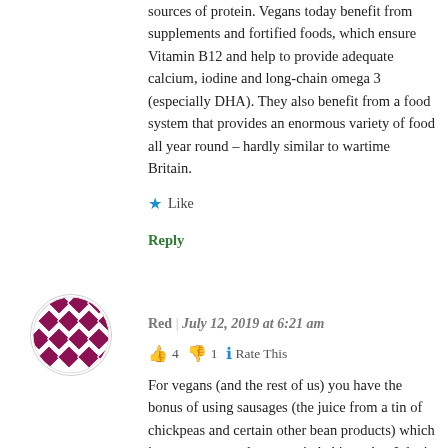sources of protein. Vegans today benefit from supplements and fortified foods, which ensure Vitamin B12 and help to provide adequate calcium, iodine and long-chain omega 3 (especially DHA). They also benefit from a food system that provides an enormous variety of food all year round – hardly similar to wartime Britain.
★ Like
Reply
Red | July 12, 2019 at 6:21 am
👍 4 👎 1 ℹ Rate This
For vegans (and the rest of us) you have the bonus of using sausages (the juice from a tin of chickpeas and certain other bean products) which is a great egg replacement in baking – but I don't think my mother of grannies knew about